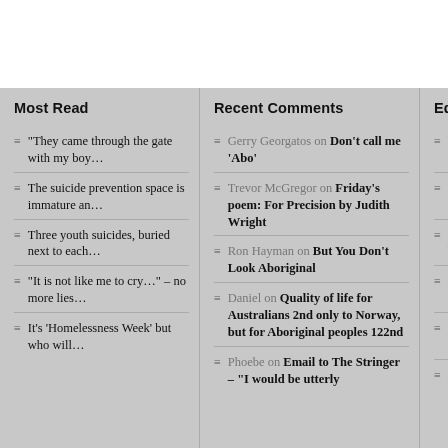Most Read
“They came through the gate with my boy…
The suicide prevention space is immature an…
Three youth suicides, buried next to each…
“It is not like me to cry…” – no more lies…
It’s ‘Homelessness Week’ but who will…
Recent Comments
Gerry Georgatos on Don’t call me ‘Abo’
Trevor McGregor on Friday’s poem: For Precision by Judith Wright
Ron Hayman on But You Don’t Look Aboriginal
Daniel on Quality of life for Australians 2nd only to Norway, but for Aboriginal peoples 122nd
Phoebe on Email to The Stringer – “I would be utterly
Editor’s
Wh… Abo…
$25… Abo…
996… by s…
Aus… chi…
Red… Bas…
A n…